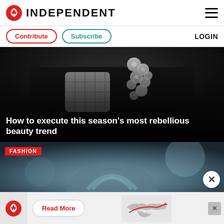INDEPENDENT
Contribute  Subscribe  LOGIN
[Figure (photo): Close-up of a person wearing a decorative crystal/diamond necklace on a black outfit, dark background]
How to execute this season's most rebellious beauty trend
[Figure (photo): Fashion photo showing a person with slicked-back grey/blue hair, blurred background, with FASHION tag overlay]
[Figure (other): Advertisement banner with Independent logo, Read More button, and world map graphic]